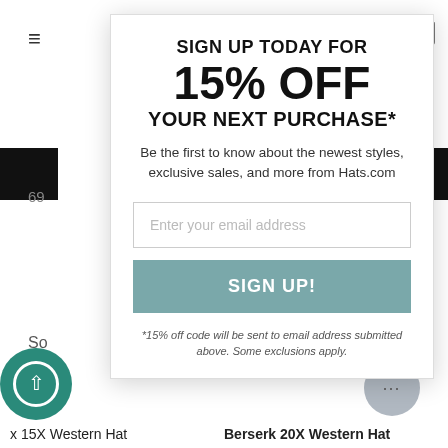≡
[Figure (screenshot): Close button (X) circle icon top right of modal]
SIGN UP TODAY FOR
15% OFF
YOUR NEXT PURCHASE*
Be the first to know about the newest styles, exclusive sales, and more from Hats.com
Enter your email address
SIGN UP!
*15% off code will be sent to email address submitted above. Some exclusions apply.
x 15X Western Hat
Berserk 20X Western Hat